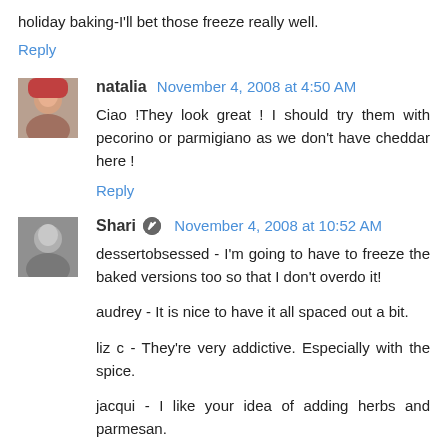holiday baking-I'll bet those freeze really well.
Reply
natalia  November 4, 2008 at 4:50 AM
Ciao !They look great ! I should try them with pecorino or parmigiano as we don't have cheddar here !
Reply
Shari  November 4, 2008 at 10:52 AM
dessertobsessed - I'm going to have to freeze the baked versions too so that I don't overdo it!

audrey - It is nice to have it all spaced out a bit.

liz c - They're very addictive. Especially with the spice.

jacqui - I like your idea of adding herbs and parmesan.

laura - They look delicious.